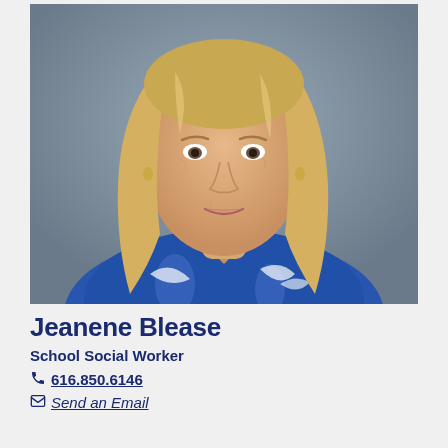[Figure (photo): Portrait photo of Jeanene Blease, a woman with long blonde hair wearing a blue patterned top, photographed against a gray background]
Jeanene Blease
School Social Worker
616.850.6146
Send an Email